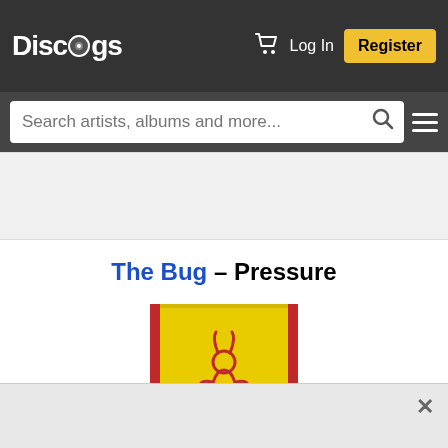Discogs – Log In | Register | Search artists, albums and more...
[Figure (screenshot): Grey ad banner placeholder]
The Bug – Pressure
[Figure (photo): Album cover art for The Bug – Pressure: yellow background with red border and red demonic figure illustration]
[Figure (screenshot): Bottom grey ad bar with close X button]